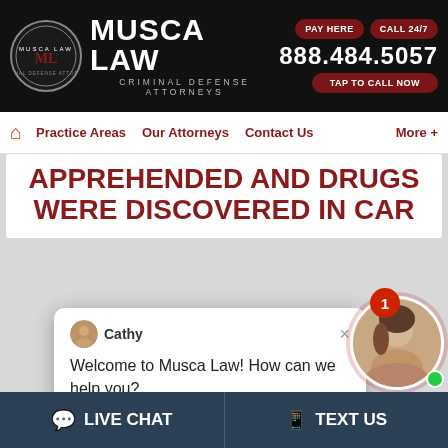[Figure (screenshot): Musca Law header with logo, firm name, phone number 888.484.5057, PAY HERE and CALL 24/7 buttons, and TAP TO CALL NOW button]
Practice Areas | Our Attorneys | Contact Us | More +
APPREHENDED AND DRUGS WERE DISCOVERED IN CAR
[Figure (screenshot): Chat popup from Cathy: Welcome to Musca Law! How can we help you?]
LIVE CHAT | TEXT US